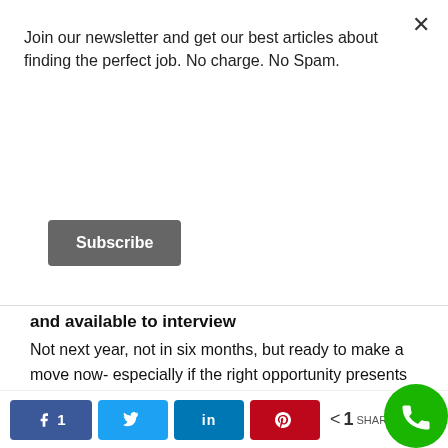Join our newsletter and get our best articles about finding the perfect job. No charge. No Spam.
Subscribe
and available to interview
Not next year, not in six months, but ready to make a move now- especially if the right opportunity presents itself.  Recruiters do not want to work with tire kickers.  We want to work with people who can make themselves available and ready to interview. If you really want to turn
f 1   [twitter]   in   [pinterest]   < 1 SHARE